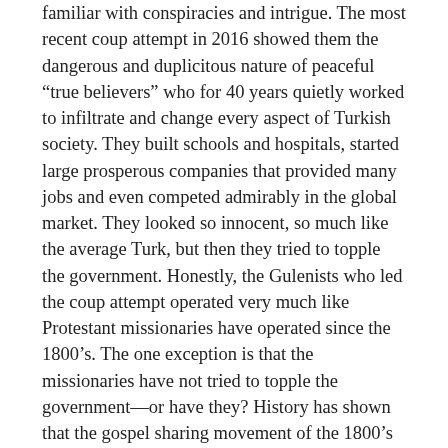familiar with conspiracies and intrigue. The most recent coup attempt in 2016 showed them the dangerous and duplicitous nature of peaceful “true believers” who for 40 years quietly worked to infiltrate and change every aspect of Turkish society. They built schools and hospitals, started large prosperous companies that provided many jobs and even competed admirably in the global market. They looked so innocent, so much like the average Turk, but then they tried to topple the government. Honestly, the Gulenists who led the coup attempt operated very much like Protestant missionaries have operated since the 1800’s. The one exception is that the missionaries have not tried to topple the government—or have they? History has shown that the gospel sharing movement of the 1800’s and early 1900’s brought in wonderfully committed godly people who opened hospitals and schools, started helpful businesses that provided jobs and helped the economy—and taught Western ideals